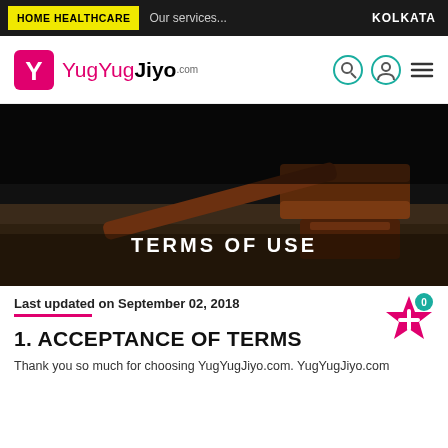HOME HEALTHCARE  Our services...  KOLKATA
[Figure (logo): YugYugJiyo.com logo with pink Y icon and search/profile/menu icons]
[Figure (photo): Dark background photo of a wooden judge's gavel on a desk with text TERMS OF USE overlaid in white]
Last updated on September 02, 2018
1. ACCEPTANCE OF TERMS
Thank you so much for choosing YugYugJiyo.com. YugYugJiyo.com